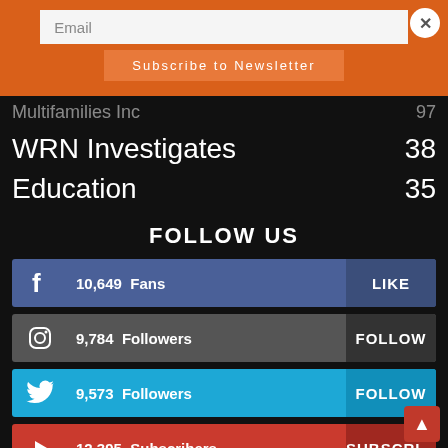Email
Subscribe to Newsletter
WRN Investigates   38
Education   35
FOLLOW US
10,649   Fans   LIKE
9,784   Followers   FOLLOW
9,573   Followers   FOLLOW
12,395   Subscribers   SUBSCRIBE